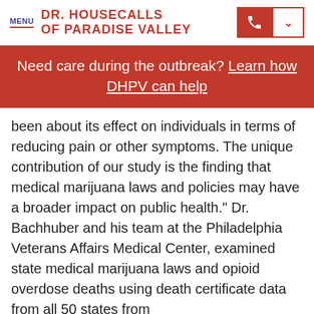MENU | DR. HOUSECALLS OF PARADISE VALLEY
Need care during the outbreak? Learn how DHPV can help
been about its effect on individuals in terms of reducing pain or other symptoms. The unique contribution of our study is the finding that medical marijuana laws and policies may have a broader impact on public health." Dr. Bachhuber and his team at the Philadelphia Veterans Affairs Medical Center, examined state medical marijuana laws and opioid overdose deaths using death certificate data from all 50 states from